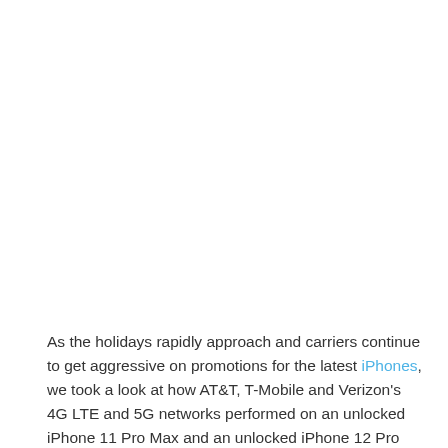As the holidays rapidly approach and carriers continue to get aggressive on promotions for the latest iPhones, we took a look at how AT&T, T-Mobile and Verizon's 4G LTE and 5G networks performed on an unlocked iPhone 11 Pro Max and an unlocked iPhone 12 Pro Max. The result? Having 5G did